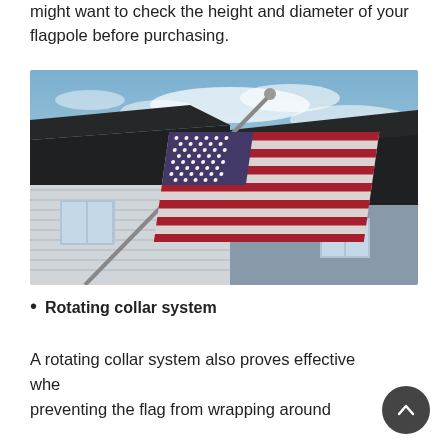might want to check the height and diameter of your flagpole before purchasing.
[Figure (photo): American flag waving on a pole mounted on a house, photographed from below against a blue sky with suburban house rooftops visible in the background.]
Rotating collar system
A rotating collar system also proves effective when preventing the flag from wrapping around